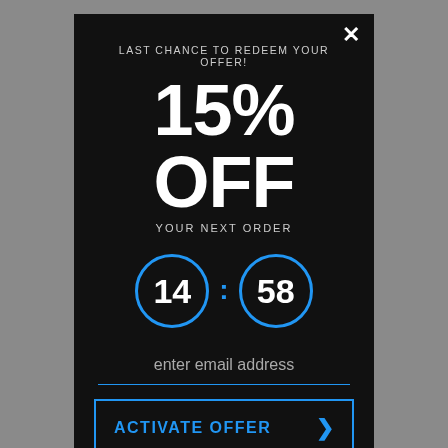LAST CHANCE TO REDEEM YOUR OFFER!
15% OFF
YOUR NEXT ORDER
[Figure (infographic): Countdown timer showing 14:58 with blue circle borders around each number]
enter email address
ACTIVATE OFFER